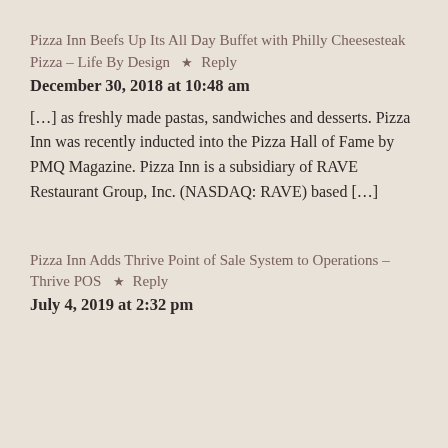Pizza Inn Beefs Up Its All Day Buffet with Philly Cheesesteak Pizza – Life By Design  ★  Reply
December 30, 2018 at 10:48 am
[…] as freshly made pastas, sandwiches and desserts. Pizza Inn was recently inducted into the Pizza Hall of Fame by PMQ Magazine. Pizza Inn is a subsidiary of RAVE Restaurant Group, Inc. (NASDAQ: RAVE) based […]
Pizza Inn Adds Thrive Point of Sale System to Operations – Thrive POS  ★  Reply
July 4, 2019 at 2:32 pm